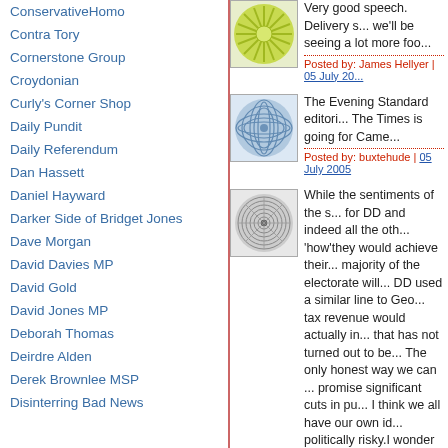ConservativeHomo
Contra Tory
Cornerstone Group
Croydonian
Curly's Corner Shop
Daily Pundit
Daily Referendum
Dan Hassett
Daniel Hayward
Darker Side of Bridget Jones
Dave Morgan
David Davies MP
David Gold
David Jones MP
Deborah Thomas
Deirdre Alden
Derek Brownlee MSP
Disinterring Bad News
Very good speech. Delivery s... we'll be seeing a lot more foo...
Posted by: James Hellyer | 05 July 20...
[Figure (illustration): Green starburst/flower avatar image]
The Evening Standard editori... The Times is going for Came...
Posted by: buxtehude | 05 July 2005
[Figure (illustration): Blue geometric/spiral avatar image]
While the sentiments of the s... for DD and indeed all the oth... 'how'they would achieve their... majority of the electorate will... DD used a similar line to Geo... tax revenue would actually in... that has not turned out to be ... The only honest way we can ... promise significant cuts in pu... I think we all have our own id... politically risky.I wonder if any... to tell the electorate which ar... sacrificed.
[Figure (illustration): Gray spiral/radial pattern avatar image]